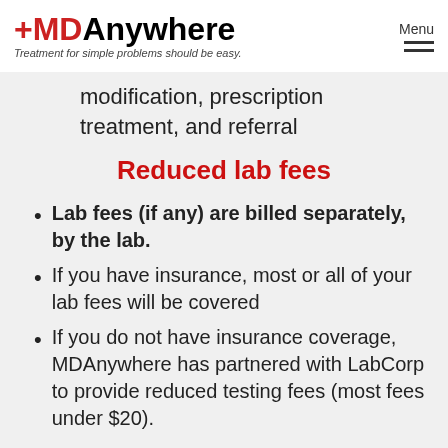+MDAnywhere — Treatment for simple problems should be easy. | Menu
modification, prescription treatment, and referral
Reduced lab fees
Lab fees (if any) are billed separately, by the lab.
If you have insurance, most or all of your lab fees will be covered
If you do not have insurance coverage, MDAnywhere has partnered with LabCorp to provide reduced testing fees (most fees under $20).